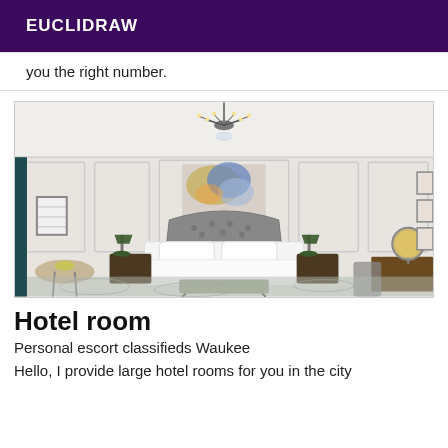EUCLIDRAW
you the right number.
[Figure (photo): Elegant hotel room with white walls, ornate chandelier, tufted headboard bed with white linens, colorful abstract painting above headboard, dark wood nightstands with green lamps, patterned carpet, bench at foot of bed, and a desk with lamp on the right side.]
Hotel room
Personal escort classifieds Waukee
Hello, I provide large hotel rooms for you in the city